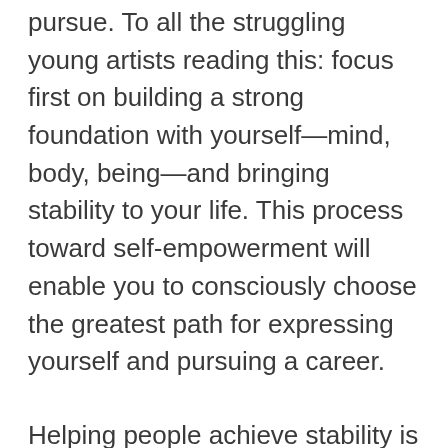pursue. To all the struggling young artists reading this: focus first on building a strong foundation with yourself—mind, body, being—and bringing stability to your life. This process toward self-empowerment will enable you to consciously choose the greatest path for expressing yourself and pursuing a career.
Helping people achieve stability is one of the Center's greatest strengths, from emergency housing and food distribution to mental health services and access to basic necessities. And still, there's so much more! Around the